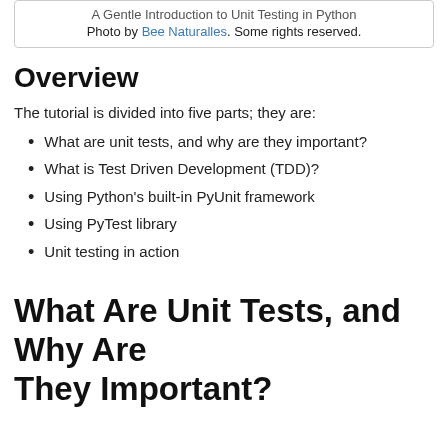A Gentle Introduction to Unit Testing in Python
Photo by Bee Naturalles. Some rights reserved.
Overview
The tutorial is divided into five parts; they are:
What are unit tests, and why are they important?
What is Test Driven Development (TDD)?
Using Python's built-in PyUnit framework
Using PyTest library
Unit testing in action
What Are Unit Tests, and Why Are They Important?